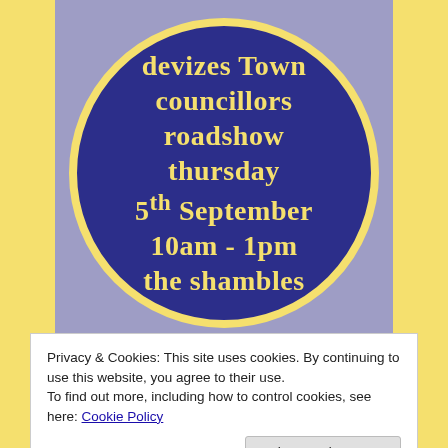[Figure (infographic): A circular dark blue badge with yellow border on a lavender/purple background. Text inside the circle reads: devizes Town councillors roadshow thursday 5th September 10am - 1pm the shambles. Text is yellow/gold on dark blue background.]
Privacy & Cookies: This site uses cookies. By continuing to use this website, you agree to their use.
To find out more, including how to control cookies, see here: Cookie Policy
Close and accept